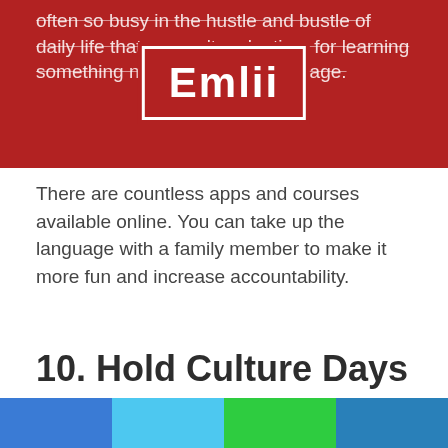often so busy in the hustle and bustle of daily life that we can't make time for learning something new, like a new language.
[Figure (logo): Emlii logo — white text 'Emlii' with white border box on red background]
There are countless apps and courses available online. You can take up the language with a family member to make it more fun and increase accountability.
10. Hold Culture Days